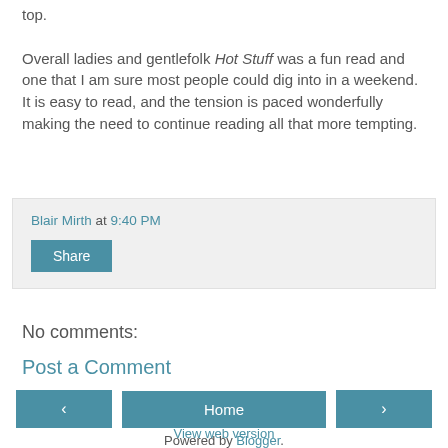top.

Overall ladies and gentlefolk Hot Stuff was a fun read and one that I am sure most people could dig into in a weekend. It is easy to read, and the tension is paced wonderfully making the need to continue reading all that more tempting.
Blair Mirth at 9:40 PM
Share
No comments:
Post a Comment
‹
Home
›
View web version
Powered by Blogger.